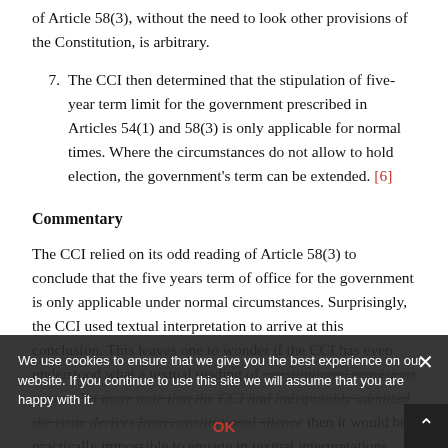of Article 58(3), without the need to look other provisions of the Constitution, is arbitrary.
7. The CCI then determined that the stipulation of five-year term limit for the government prescribed in Articles 54(1) and 58(3) is only applicable for normal times. Where the circumstances do not allow to hold election, the government's term can be extended. [6]
Commentary
The CCI relied on its odd reading of Article 58(3) to conclude that the five years term of office for the government is only applicable under normal circumstances. Surprisingly, the CCI used textual interpretation to arrive at this conclusion. This leaves one to wonder if the CCI has even understood what a textual reading of constitutional provisions means. Yet more note that the CCI had indisputably admitted the issue derives from constitutional silence then it would be practically impossible to engage in textual interpretations. This is because construing constitutional silence would at least require to go beyond the whole document of the